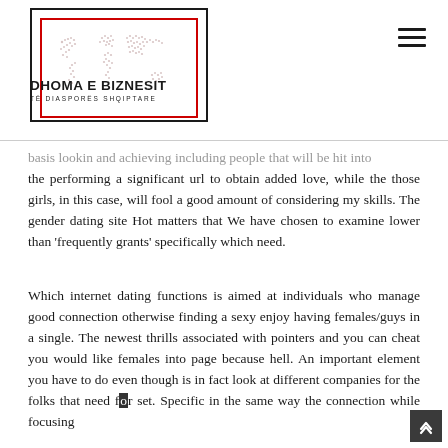DHOMA E BIZNESIT TË DIASPORËS SHQIPTARE
basis lookin and achieving including people that will be hit into the performing a significant url to obtain added love, while the those girls, in this case, will fool a good amount of considering my skills. The gender dating site Hot matters that We have chosen to examine lower than 'frequently grants' specifically which need.
Which internet dating functions is aimed at individuals who manage good connection otherwise finding a sexy enjoy having females/guys in a single. The newest thrills associated with pointers and you can cheat you would like females into page because hell. An important element you have to do even though is in fact look at different companies for the folks that need for set. Specific in the same way the connection while focusing